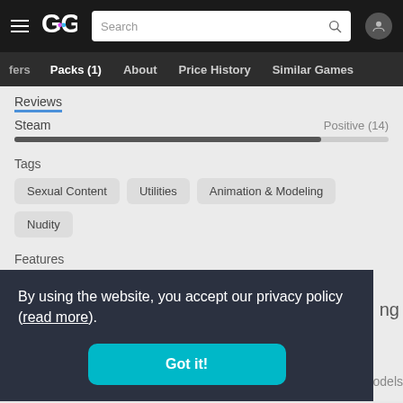GG navigation bar with search
fers  Packs (1)  About  Price History  Similar Games
Reviews
Steam  Positive (14)
Tags
Sexual Content
Utilities
Animation & Modeling
Nudity
Features
Steam Workshop
By using the website, you accept our privacy policy (read more).
Got it!
ng
Spine models